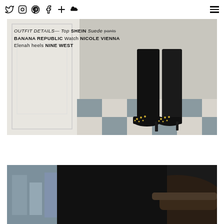Social media icons: Twitter, Instagram, Pinterest, Facebook, Plus, SoundCloud | Hamburger menu
[Figure (photo): Cropped photo of a person's legs wearing black slim pants and black studded heels, standing on a black-and-white checkered tile floor next to a white wainscoted wall. Overlay text shows outfit details.]
OUTFIT DETAILS— Top SHEIN Suede pants BANANA REPUBLIC Watch NICOLE VIENNA Elenah heels NINE WEST
[Figure (photo): Partial photo showing a person in black pants seated in or near a dark leather chair, with an out-of-focus cityscape/building visible through a window in the background.]